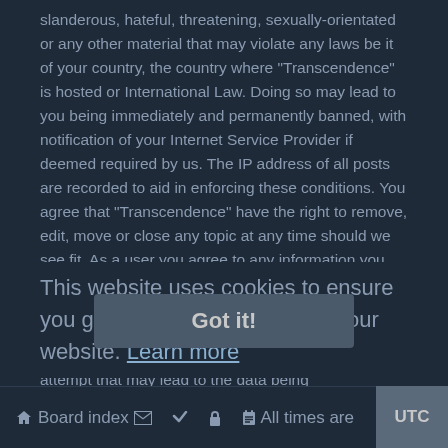slanderous, hateful, threatening, sexually-orientated or any other material that may violate any laws be it of your country, the country where "Transcendence" is hosted or International Law. Doing so may lead to you being immediately and permanently banned, with notification of your Internet Service Provider if deemed required by us. The IP address of all posts are recorded to aid in enforcing these conditions. You agree that "Transcendence" have the right to remove, edit, move or close any topic at any time should we see fit. As a user you agree to any information you have entered to being stored in a database. While this information will not be disclosed to any third party without your consent, neither "Transcendence" nor phpBB shall be held responsible for any hacking attempt that may lead to the data being compromised.
This website uses cookies to ensure you get the best experience on our website. Learn more
Got it!
Board index | All times are UTC